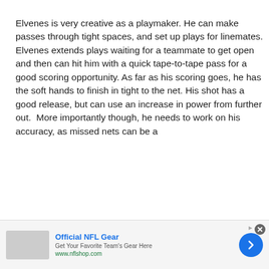Elvenes is very creative as a playmaker. He can make passes through tight spaces, and set up plays for linemates. Elvenes extends plays waiting for a teammate to get open and then can hit him with a quick tape-to-tape pass for a good scoring opportunity. As far as his scoring goes, he has the soft hands to finish in tight to the net. His shot has a good release, but can use an increase in power from further out.  More importantly though, he needs to work on his accuracy, as missed nets can be a [continues]
[Figure (other): Advertisement banner for Official NFL Gear with logo, title, subtitle, URL, and arrow navigation button]